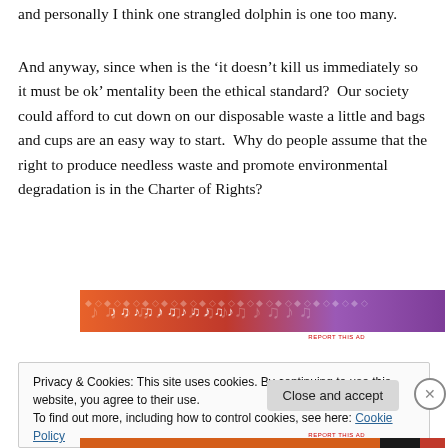and personally I think one strangled dolphin is one too many.
And anyway, since when is the ‘it doesn’t kill us immediately so it must be ok’ mentality been the ethical standard?  Our society could afford to cut down on our disposable waste a little and bags and cups are an easy way to start.  Why do people assume that the right to produce needless waste and promote environmental degradation is in the Charter of Rights?
[Figure (other): Colorful advertisement banner with orange, purple and pink gradient pattern with music and decorative motifs]
REPORT THIS AD
Privacy & Cookies: This site uses cookies. By continuing to use this website, you agree to their use.
To find out more, including how to control cookies, see here: Cookie Policy
Close and accept